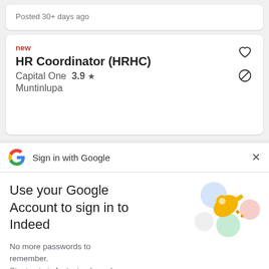Posted 30+ days ago
new
HR Coordinator (HRHC)
Capital One  3.9 ★
Muntinlupa
Sign in with Google
Use your Google Account to sign in to Indeed
No more passwords to remember. Signing in is fast, simple and secure.
Continue